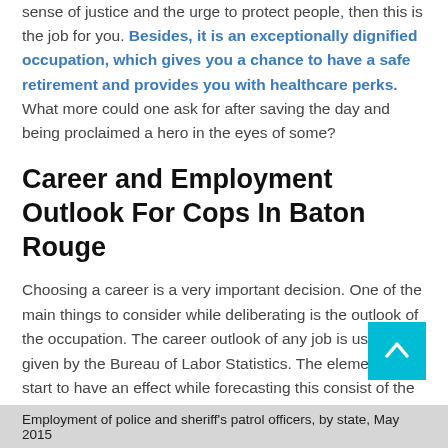sense of justice and the urge to protect people, then this is the job for you. Besides, it is an exceptionally dignified occupation, which gives you a chance to have a safe retirement and provides you with healthcare perks. What more could one ask for after saving the day and being proclaimed a hero in the eyes of some?
Career and Employment Outlook For Cops In Baton Rouge
Choosing a career is a very important decision. One of the main things to consider while deliberating is the outlook of the occupation. The career outlook of any job is usually given by the Bureau of Labor Statistics. The elements that start to have an effect while forecasting this consist of the future requirement for that occupation and the spending pattern of businesses. We shall now take a look at the occupational outlook of a law enforcement officer.
[asd_program_button /]
Employment of police and sheriff's patrol officers, by state, May 2015